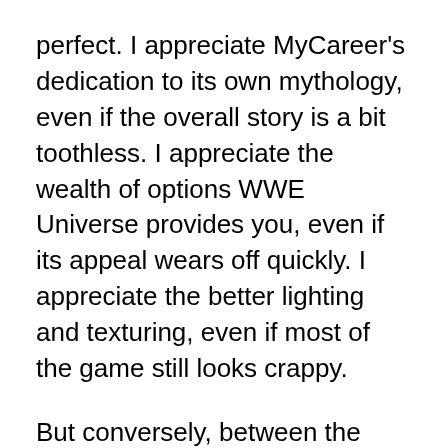perfect. I appreciate MyCareer's dedication to its own mythology, even if the overall story is a bit toothless. I appreciate the wealth of options WWE Universe provides you, even if its appeal wears off quickly. I appreciate the better lighting and texturing, even if most of the game still looks crappy.
But conversely, between the Rumble, the glitches, the loading screen, my nitpick manifesto, and the wrestling—which, need I remind you, is reportedly the cornerstone of this wrestling game—there's very little to ultimately recommend about WWE 2K18. This is a better game, but just because it's